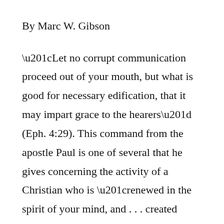By Marc W. Gibson
“Let no corrupt communication proceed out of your mouth, but what is good for necessary edification, that it may impart grace to the hearers” (Eph. 4:29). This command from the apostle Paul is one of several that he gives concerning the activity of a Christian who is “renewed in the spirit of your mind, and . . . created according to God, in righteousness and true holiness” (vv. 23-24). Since God is